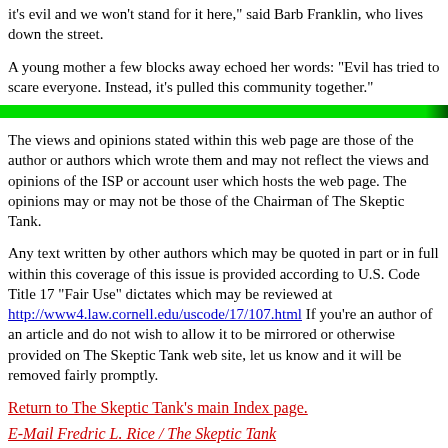it's evil and we won't stand for it here," said Barb Franklin, who lives down the street.
A young mother a few blocks away echoed her words: "Evil has tried to scare everyone. Instead, it's pulled this community together."
[Figure (other): Green horizontal bar divider]
The views and opinions stated within this web page are those of the author or authors which wrote them and may not reflect the views and opinions of the ISP or account user which hosts the web page. The opinions may or may not be those of the Chairman of The Skeptic Tank.
Any text written by other authors which may be quoted in part or in full within this coverage of this issue is provided according to U.S. Code Title 17 "Fair Use" dictates which may be reviewed at http://www4.law.cornell.edu/uscode/17/107.html If you're an author of an article and do not wish to allow it to be mirrored or otherwise provided on The Skeptic Tank web site, let us know and it will be removed fairly promptly.
Return to The Skeptic Tank's main Index page.
E-Mail Fredric L. Rice / The Skeptic Tank